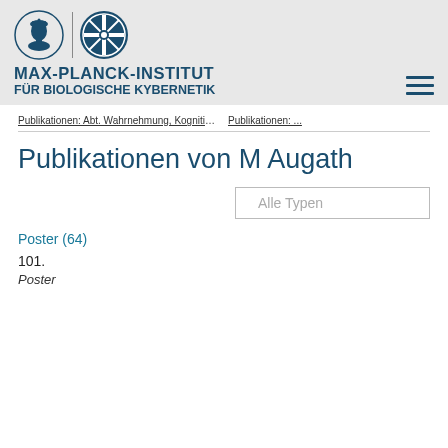[Figure (logo): Max-Planck-Institut für Biologische Kybernetik header with Minerva logo, MPI gear logo, institute name, and hamburger menu icon]
MAX-PLANCK-INSTITUT FÜR BIOLOGISCHE KYBERNETIK
Publikationen: Abt. Wahrnehmung, Kognition & Handlung   Publikationen: ...
Publikationen von M Augath
Alle Typen
Poster (64)
101.
Poster